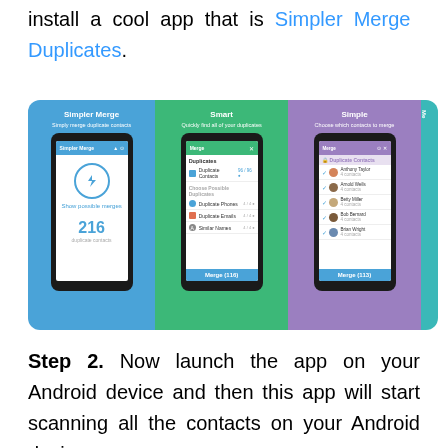install a cool app that is Simpler Merge Duplicates.
[Figure (screenshot): Screenshot of Simpler Merge app showing three panels: blue panel with Simpler Merge logo and 216 duplicate contacts count, green panel showing Smart - Quickly find all of your duplicates with list of Duplicate Contacts, Duplicate Phones, Duplicate Emails, Similar Names, and purple panel showing Simple - Choose which contacts to merge with contact list including Anthony Taylor, Arnold Wells, Betty Miller, Bob Bernard, Brian Wright]
Step 2. Now launch the app on your Android device and then this app will start scanning all the contacts on your Android device.